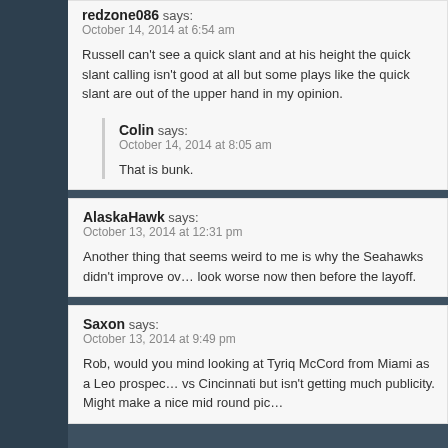redzone086 says:
October 14, 2014 at 6:54 am
Russell can't see a quick slant and at his height the quick slant calling isn't good at all but some plays like the quick slant are out of the upper hand in my opinion.
Colin says:
October 14, 2014 at 8:05 am
That is bunk.
AlaskaHawk says:
October 13, 2014 at 12:31 pm
Another thing that seems weird to me is why the Seahawks didn't improve over the layoff they look worse now then before the layoff.
Saxon says:
October 13, 2014 at 9:49 pm
Rob, would you mind looking at Tyriq McCord from Miami as a Leo prospect vs Cincinnati but isn't getting much publicity. Might make a nice mid round pic